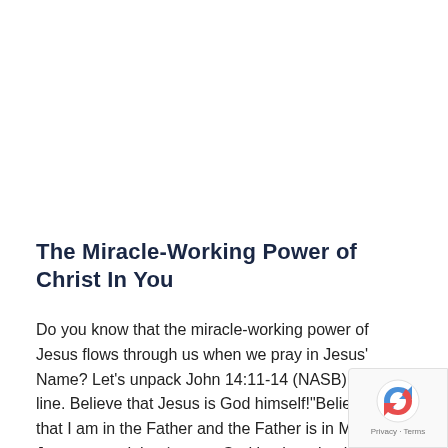The Miracle-Working Power of Christ In You
Do you know that the miracle-working power of Jesus flows through us when we pray in Jesus' Name? Let's unpack John 14:11-14 (NASB) line by line. Believe that Jesus is God himself!"Believe Me that I am in the Father and the Father is in Me." Jesus proved that he was God by the miracles he did ...